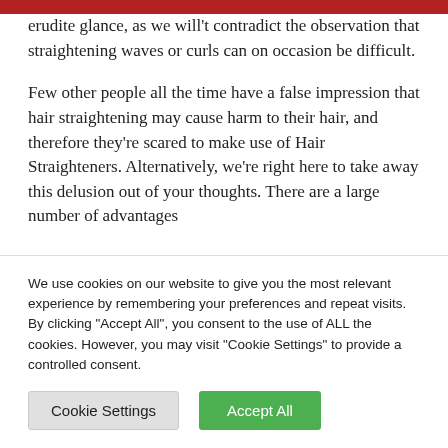erudite glance, as we will't contradict the observation that straightening waves or curls can on occasion be difficult.
Few other people all the time have a false impression that hair straightening may cause harm to their hair, and therefore they're scared to make use of Hair Straighteners. Alternatively, we're right here to take away this delusion out of your thoughts. There are a large number of advantages
We use cookies on our website to give you the most relevant experience by remembering your preferences and repeat visits. By clicking "Accept All", you consent to the use of ALL the cookies. However, you may visit "Cookie Settings" to provide a controlled consent.
Cookie Settings
Accept All